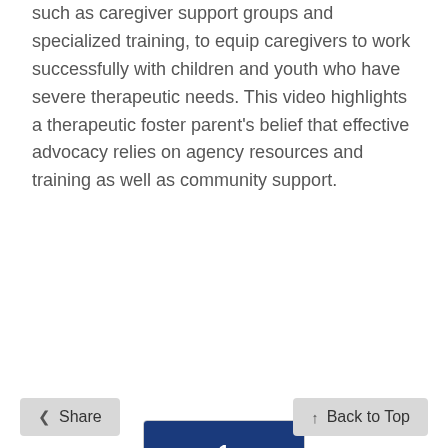such as caregiver support groups and specialized training, to equip caregivers to work successfully with children and youth who have severe therapeutic needs. This video highlights a therapeutic foster parent's belief that effective advocacy relies on agency resources and training as well as community support.
[Figure (other): Pagination navigation widget with 4 items: '1' (active, dark blue background), '2', 'Next', 'Last']
Share
Back to Top